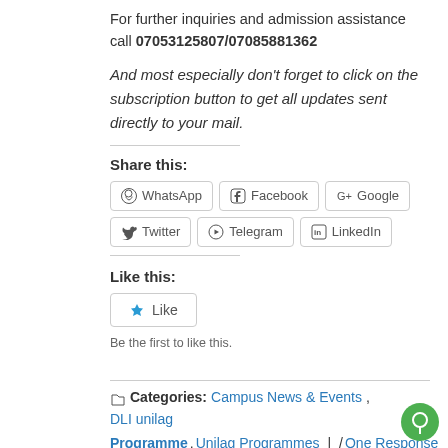For further inquiries and admission assistance call 07053125807/07085881362
And most especially don't forget to click on the subscription button to get all updates sent directly to your mail.
Share this:
WhatsApp  Facebook  Google  Twitter  Telegram  LinkedIn
Like this:
Like
Be the first to like this.
Categories:  Campus News & Events,  DLI unilag Programme,  Unilag Programmes  |  /  One Response /